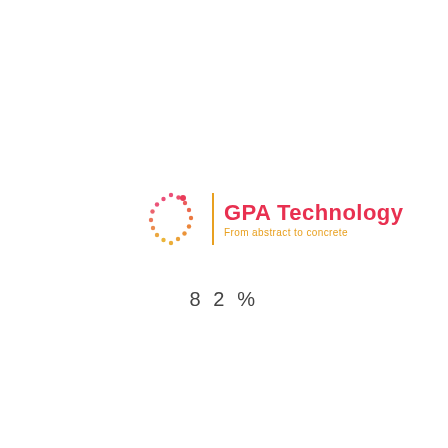[Figure (logo): GPA Technology logo: dotted circle icon in red/pink gradient on left, vertical orange divider bar, then bold red text 'GPA Technology' with orange subtitle 'From abstract to concrete']
82%